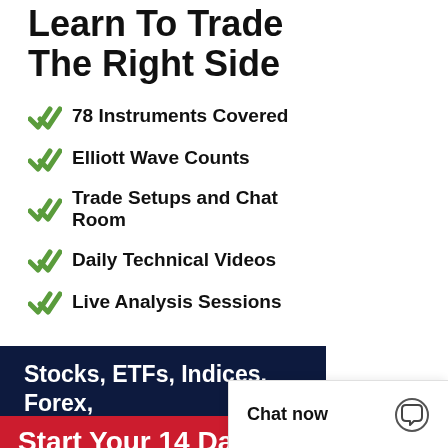Learn To Trade The Right Side
78 Instruments Covered
Elliott Wave Counts
Trade Setups and Chat Room
Daily Technical Videos
Live Analysis Sessions
Stocks, ETFs, Indices, Forex, Commodities, Bonds, Crypto
Start Your 14 Day Trial CANCEL AN...